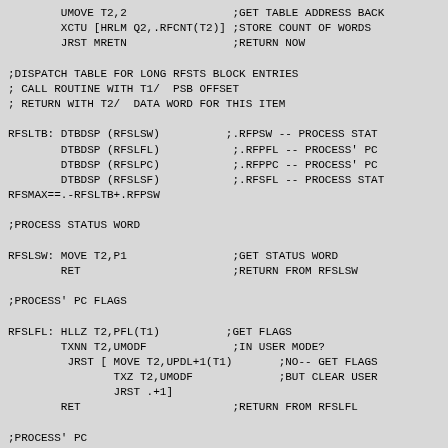UMOVE T2,2                ;GET TABLE ADDRESS BACK
        XCTU [HRLM Q2,.RFCNT(T2)] ;STORE COUNT OF WORDS
        JRST MRETN                ;RETURN NOW

;DISPATCH TABLE FOR LONG RFSTS BLOCK ENTRIES
; CALL ROUTINE WITH T1/  PSB OFFSET
; RETURN WITH T2/  DATA WORD FOR THIS ITEM

RFSLTB: DTBDSP (RFSLSW)          ;.RFPSW -- PROCESS STAT
        DTBDSP (RFSLFL)           ;.RFPFL -- PROCESS' PC
        DTBDSP (RFSLPC)           ;.RFPPC -- PROCESS' PC
        DTBDSP (RFSLSF)           ;.RFSFL -- PROCESS STAT
RFSMAX==.-RFSLTB+.RFPSW

;PROCESS STATUS WORD

RFSLSW: MOVE T2,P1                ;GET STATUS WORD
        RET                       ;RETURN FROM RFSLSW

;PROCESS' PC FLAGS

RFSLFL: HLLZ T2,PFL(T1)          ;GET FLAGS
        TXNN T2,UMODF             ;IN USER MODE?
         JRST [ MOVE T2,UPDL+1(T1)       ;NO-- GET FLAGS
                TXZ T2,UMODF             ;BUT CLEAR USER
                JRST .+1]
        RET                       ;RETURN FROM RFSLFL

;PROCESS' PC